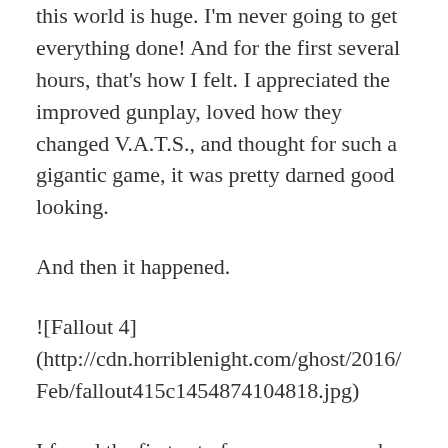this world is huge. I'm never going to get everything done! And for the first several hours, that's how I felt. I appreciated the improved gunplay, loved how they changed V.A.T.S., and thought for such a gigantic game, it was pretty darned good looking.
And then it happened.
![Fallout 4] (http://cdn.horriblenight.com/ghost/2016/Feb/fallout415c1454874104818.jpg)
I found the first set of power armor and mini-gun and a deathclaw came tearing around the corner, charging towards me and I unloaded on it, killing it and watching it slide face first on the asphalt to come to rest at my feet. I am the Vault Dweller and the